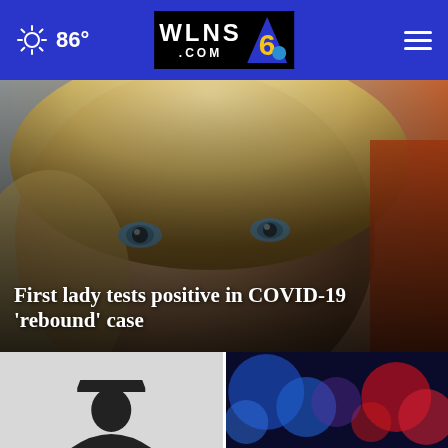WLNS 6 .COM — 86°
[Figure (photo): Close-up photo of a blonde woman with blue eyes, with orange element visible in background. Text overlay reads: First lady tests positive in COVID-19 'rebound' case]
First lady tests positive in COVID-19 'rebound' case
[Figure (photo): Thumbnail image of silhouette of person wearing graduation cap]
[Figure (photo): Thumbnail image with blurred blue and red lights (police lights bokeh)]